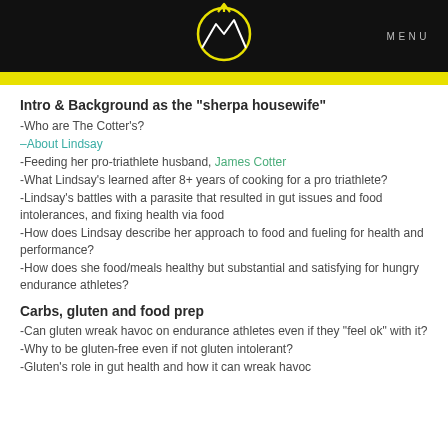MENU
Intro & Background as the "sherpa housewife"
-Who are The Cotter's?
–About Lindsay
-Feeding her pro-triathlete husband, James Cotter
-What Lindsay's learned after 8+ years of cooking for a pro triathlete?
-Lindsay's battles with a parasite that resulted in gut issues and food intolerances, and fixing health via food
-How does Lindsay describe her approach to food and fueling for health and performance?
-How does she food/meals healthy but substantial and satisfying for hungry endurance athletes?
Carbs, gluten and food prep
-Can gluten wreak havoc on endurance athletes even if they "feel ok" with it?
-Why to be gluten-free even if not gluten intolerant?
-Gluten's role in gut health and how it can wreak havoc